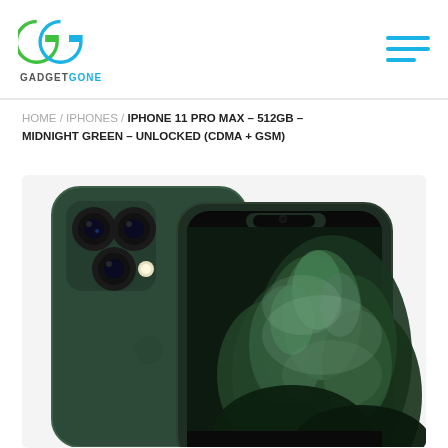GADGETGONE
HOME / IPHONES / IPHONE 11 PRO MAX – 512GB – MIDNIGHT GREEN – UNLOCKED (CDMA + GSM)
[Figure (photo): iPhone 11 Pro Max in Midnight Green color shown from two angles: back showing triple camera system and front showing screen with green floral wallpaper]